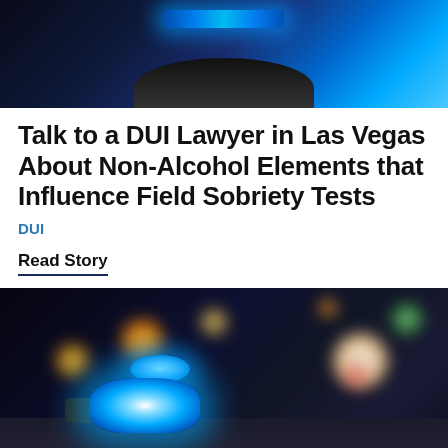[Figure (photo): Police car with blue light bar visible against dark background, top portion of vehicle]
Talk to a DUI Lawyer in Las Vegas About Non-Alcohol Elements that Influence Field Sobriety Tests
DUI
Read Story
[Figure (photo): Police car with glowing blue emergency light at night, bokeh city lights in background]